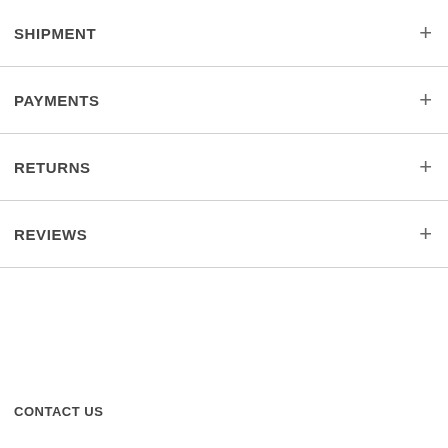SHIPMENT
PAYMENTS
RETURNS
REVIEWS
CONTACT US